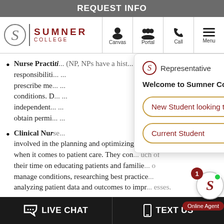REQUEST INFO
[Figure (screenshot): Sumner College navigation bar with logo, Canvas, Portal, Call, Menu icons]
Nurse Practiti... responsibilities... prescribe me... conditions. D... independent... obtain permi...
[Figure (screenshot): Chat popup with Sumner College representative. Welcome message: 'Welcome to Sumner College! Are you a:' with buttons 'New Student looking to enroll' and 'Current Student']
Clinical Nur... involved in the planning and optimizing of practices when it comes to patient care. They con... uch of their time on educating patients and familie... o manage conditions, researching best practice... analyzing patient data and outcomes to impr... esses.
[Figure (screenshot): Online Agent badge with Sumner College S logo and notification badge showing 1]
LIVE CHAT   TEXT US